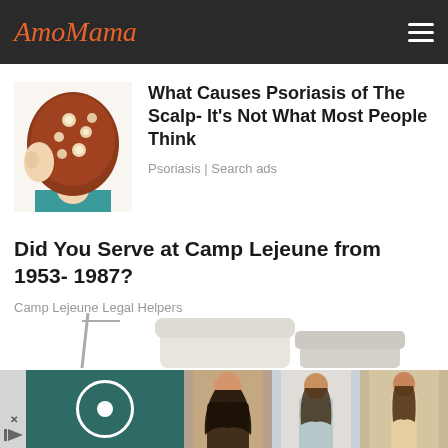AmoMama
[Figure (illustration): Illustration of a person viewed from behind showing scalp with psoriasis lesions, red/brown hair, wearing teal shirt]
What Causes Psoriasis of The Scalp- It's Not What Most People Think
Psoriasis | Search ads
Did You Serve at Camp Lejeune from 1953- 1987?
Camp Lejeune Legal Helpers
[Figure (photo): Bottom advertisement strip showing a dark teal panel with a circular camera/lens icon, and three photos of women models in various outfits]
[Figure (illustration): Partial view of white furniture/chair at bottom of page]